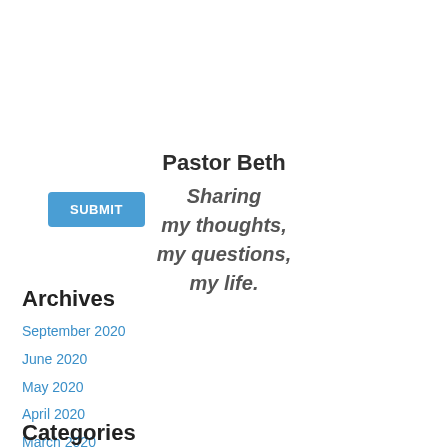SUBMIT
Pastor Beth
Sharing my thoughts, my questions, my life.
Archives
September 2020
June 2020
May 2020
April 2020
March 2020
February 2020
Categories